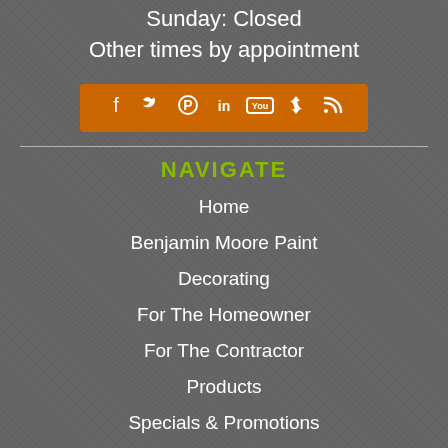Sunday: Closed
Other times by appointment
[Figure (infographic): Orange social media icon bar with icons for Facebook, Twitter, Pinterest, LinkedIn, YouTube, a share icon, and RSS feed]
NAVIGATE
Home
Benjamin Moore Paint
Decorating
For The Homeowner
For The Contractor
Products
Specials & Promotions
Blog